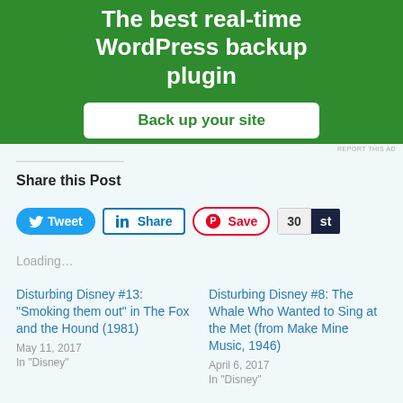[Figure (screenshot): Green advertisement banner for a WordPress backup plugin with text 'The best real-time WordPress backup plugin' and a white button 'Back up your site']
REPORT THIS AD
Share this Post
[Figure (other): Social share buttons: Tweet (Twitter), Share (LinkedIn), Save (Pinterest), 30 (StumbleUpon)]
Loading...
Disturbing Disney #13: "Smoking them out" in The Fox and the Hound (1981)
May 11, 2017
In "Disney"
Disturbing Disney #8: The Whale Who Wanted to Sing at the Met (from Make Mine Music, 1946)
April 6, 2017
In "Disney"